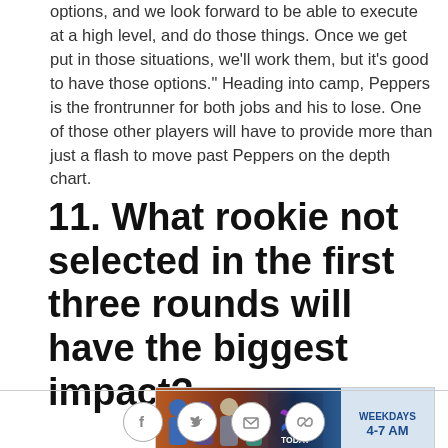options, and we look forward to be able to execute at a high level, and do those things. Once we get put in those situations, we'll work them, but it's good to have those options." Heading into camp, Peppers is the frontrunner for both jobs and his to lose. One of those other players will have to provide more than just a flash to move past Peppers on the depth chart.
11. What rookie not selected in the first three rounds will have the biggest impact?
[Figure (photo): NBC Today in New York advertisement banner showing show hosts with NBC peacock logo and text 'WEEKDAYS 4-7 AM']
[Figure (other): Social sharing icons: Facebook, Twitter, Email, Link]